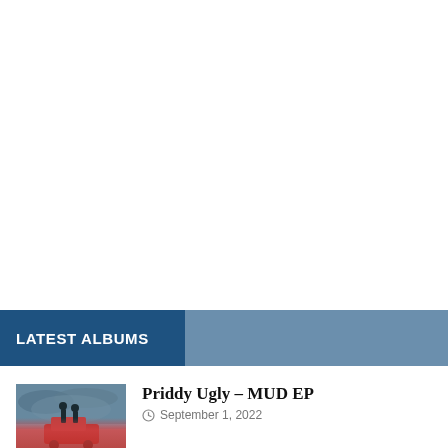LATEST ALBUMS
[Figure (photo): Album art thumbnail for Priddy Ugly – MUD EP showing stormy sky and figures on a red vehicle]
Priddy Ugly – MUD EP
September 1, 2022